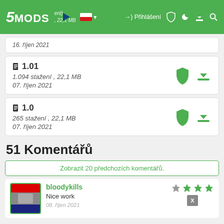5MODS — Přihlášení
16. říjen 2021
1.01
1.094 stažení , 22,1 MB
07. říjen 2021
1.0
265 stažení , 22,1 MB
07. říjen 2021
51 Komentářů
Zobrazit 20 předchozích komentářů.
bloodykills
Nice work
08. říjen 2021